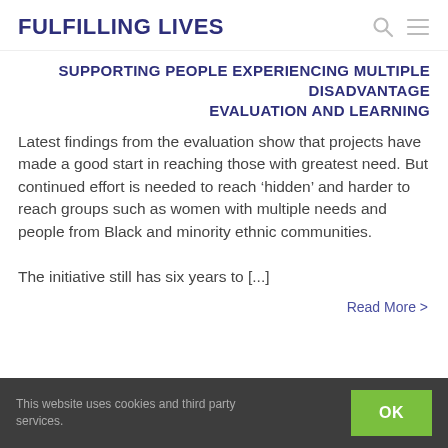FULFILLING LIVES
SUPPORTING PEOPLE EXPERIENCING MULTIPLE DISADVANTAGE EVALUATION AND LEARNING
Latest findings from the evaluation show that projects have made a good start in reaching those with greatest need. But continued effort is needed to reach ‘hidden’ and harder to reach groups such as women with multiple needs and people from Black and minority ethnic communities.

The initiative still has six years to [...]
Read More >
This website uses cookies and third party services.